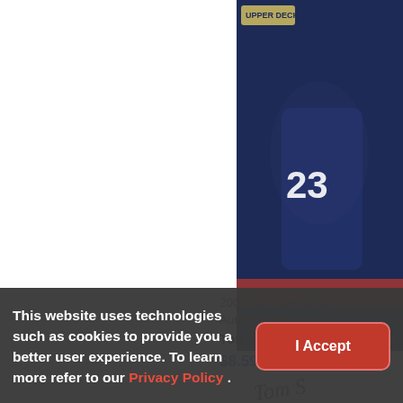[Figure (photo): Upper Deck Artifacts hockey trading card for Tom Sestito, number 23, with autograph, partially cropped on the right side of the page]
2009-10 Upper Deck Autofacts #AF-TS
Tom Sestito
$8.59
This website uses technologies such as cookies to provide you a better user experience. To learn more refer to our Privacy Policy .
I Accept